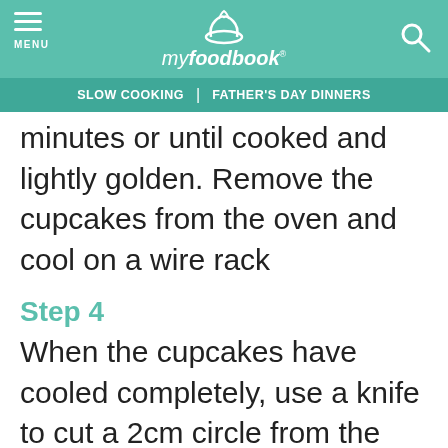my foodbook
SLOW COOKING | FATHER'S DAY DINNERS
minutes or until cooked and lightly golden. Remove the cupcakes from the oven and cool on a wire rack
Step 4
When the cupcakes have cooled completely, use a knife to cut a 2cm circle from the top of each cupcake. Cut the tops in half and